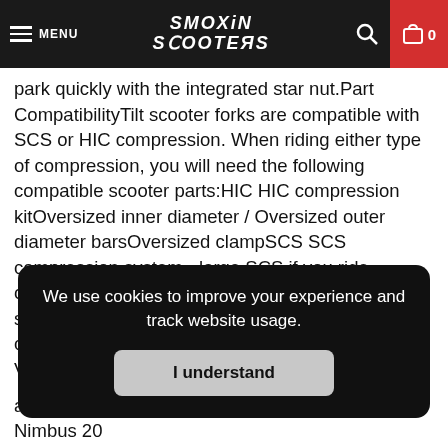MENU | SMOKIN SCOOTERS | [search] [cart 0]
park quickly with the integrated star nut.Part CompatibilityTilt scooter forks are compatible with SCS or HIC compression. When riding either type of compression, you will need the following compatible scooter parts:HIC HIC compression kitOversized inner diameter / Oversized outer diameter barsOversized clampSCS SCS compression system - large SCS if you ride oversized SCS bars or small/baby SCS if you rider standard barsWheelsAll Tilt scooter forks are compatible with scooter wheels up to 120mm.The VerdictShould you choose the Tilt Nimbus, Tomahawk, or Sculpted forks to rider? It simply does not matter, as long as you pick one of them over the
We use cookies to improve your experience and track website usage.
I understand
any Tilt forks, you can purchase them here. Tilt Nimbus 20